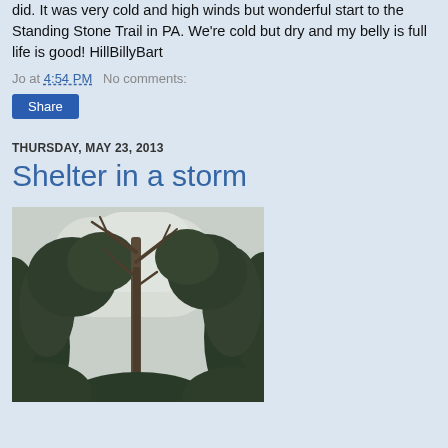did. It was very cold and high winds but wonderful start to the Standing Stone Trail in PA. We're cold but dry and my belly is full life is good! HillBillyBart
Jo at 4:54 PM   No comments:
Share
THURSDAY, MAY 23, 2013
Shelter in a storm
[Figure (photo): Upward view of bare dead tree trunk and branches surrounded by leafy green trees against an overcast grey sky]